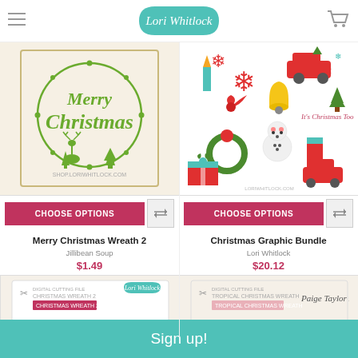Lori Whitlock
[Figure (illustration): Merry Christmas Wreath 2 product image - green circular wreath SVG design with deer and trees]
CHOOSE OPTIONS
Merry Christmas Wreath 2
Jillibean Soup
$1.49
[Figure (illustration): Christmas Graphic Bundle product image - collection of Christmas icons including snowflakes, car, bells, wreath, snowman, gifts]
CHOOSE OPTIONS
Christmas Graphic Bundle
Lori Whitlock
$20.12
[Figure (screenshot): Small product card - Christmas Wreath digital cutting file by Lori Whitlock]
[Figure (screenshot): Small product card - Tropical Christmas Wreath digital cutting file by Paige Taylor Evans]
Sign up!